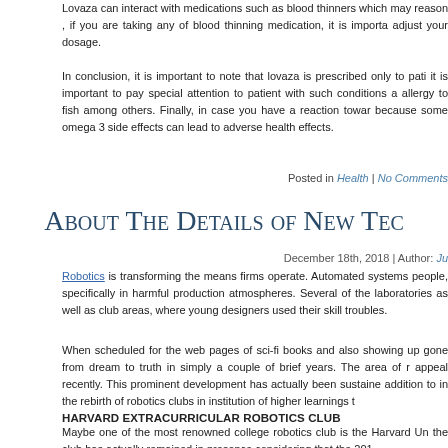Lovaza can interact with medications such as blood thinners which may reason , if you are taking any of blood thinning medication, it is importa adjust your dosage.
In conclusion, it is important to note that lovaza is prescribed only to pati it is important to pay special attention to patient with such conditions a allergy to fish among others. Finally, in case you have a reaction towar because some omega 3 side effects can lead to adverse health effects.
Posted in Health | No Comments
About The Details of New Tec
December 18th, 2018 | Author: Ju
Robotics is transforming the means firms operate. Automated systems people, specifically in harmful production atmospheres. Several of the laboratories as well as club areas, where young designers used their skill troubles.
When scheduled for the web pages of sci-fi books and also showing up gone from dream to truth in simply a couple of brief years. The area of r appeal recently. This prominent development has actually been sustaine addition to in the rebirth of robotics clubs in institution of higher learnings t
HARVARD EXTRACURRICULAR ROBOTICS CLUB
Maybe one of the most renowned college robotics club is the Harvard Un the club has actually remained in presence considering that the 201